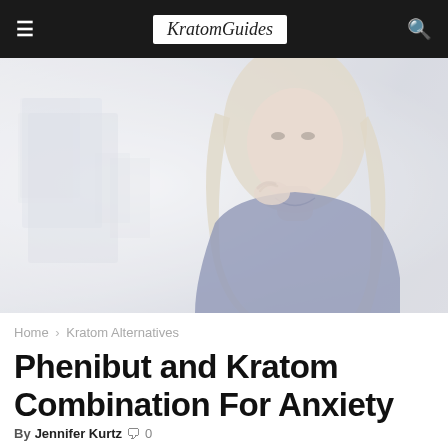KratomGuides
[Figure (photo): A young woman with long blonde hair biting her finger in an anxious pose, against a blurred office/room background. Image is somewhat washed out/high-key.]
Home › Kratom Alternatives
Phenibut and Kratom Combination For Anxiety
By Jennifer Kurtz 🗨 0